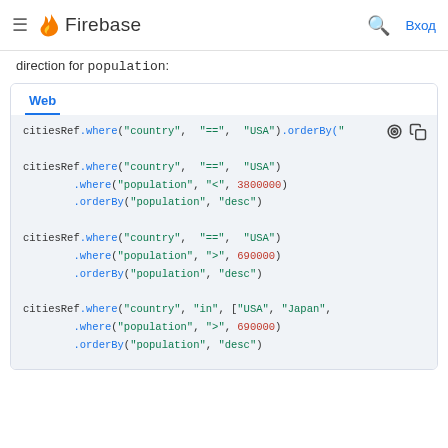≡ 🔥 Firebase  🔍 Вход
direction for population:
[Figure (screenshot): Firebase documentation code block showing Web tab with JavaScript Firestore query examples using citiesRef.where() and .orderBy() chained methods with country, population filters and desc ordering]
citiesRef.where("country", "==", "USA").orderBy("
citiesRef.where("country", "==", "USA")
        .where("population", "<", 3800000)
        .orderBy("population", "desc")
citiesRef.where("country", "==", "USA")
        .where("population", ">", 690000)
        .orderBy("population", "desc")
citiesRef.where("country", "in", ["USA", "Japan",
        .where("population", ">", 690000)
        .orderBy("population", "desc")